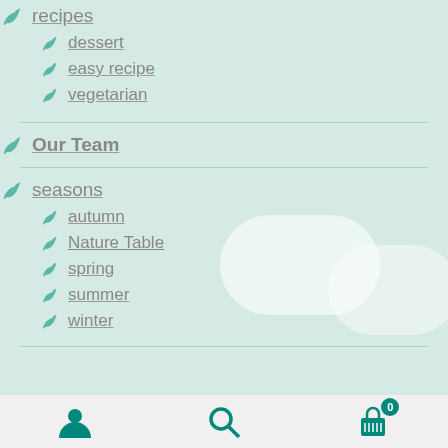recipes
dessert
easy recipe
vegetarian
Our Team
seasons
autumn
Nature Table
spring
summer
winter